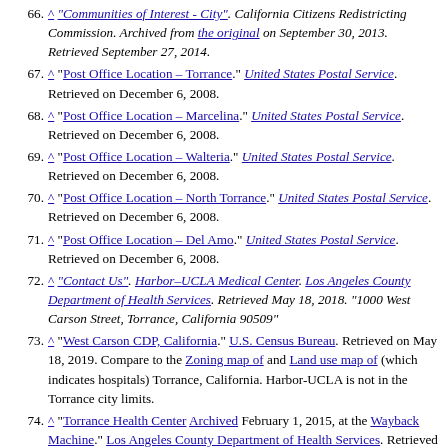66. ^ "Communities of Interest - City". California Citizens Redistricting Commission. Archived from the original on September 30, 2013. Retrieved September 27, 2014.
67. ^ "Post Office Location – Torrance." United States Postal Service. Retrieved on December 6, 2008.
68. ^ "Post Office Location – Marcelina." United States Postal Service. Retrieved on December 6, 2008.
69. ^ "Post Office Location – Walteria." United States Postal Service. Retrieved on December 6, 2008.
70. ^ "Post Office Location – North Torrance." United States Postal Service. Retrieved on December 6, 2008.
71. ^ "Post Office Location – Del Amo." United States Postal Service. Retrieved on December 6, 2008.
72. ^ "Contact Us". Harbor–UCLA Medical Center. Los Angeles County Department of Health Services. Retrieved May 18, 2018. "1000 West Carson Street, Torrance, California 90509"
73. ^ "West Carson CDP, California." U.S. Census Bureau. Retrieved on May 18, 2019. Compare to the Zoning map of and Land use map of (which indicates hospitals) Torrance, California. Harbor-UCLA is not in the Torrance city limits.
74. ^ "Torrance Health Center Archived February 1, 2015, at the Wayback Machine." Los Angeles County Department of Health Services. Retrieved on March 18, 2010.
75. ^ "Fire Department". Torranceca.gov. Archived from the